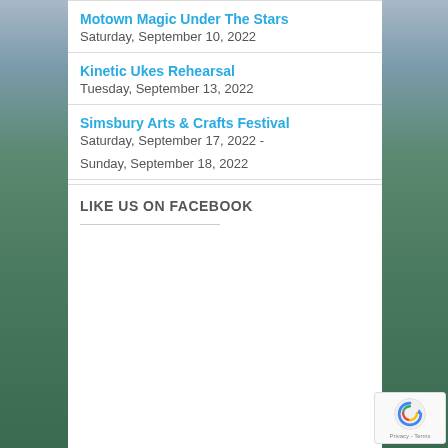Motown Magic Under The Stars
Saturday, September 10, 2022
Kinetic Ukes Rehearsal
Tuesday, September 13, 2022
Simsbury Arts & Crafts Festival
Saturday, September 17, 2022 -

Sunday, September 18, 2022
LIKE US ON FACEBOOK
[Figure (other): reCAPTCHA privacy badge with spinning arrow icon and Privacy - Terms text]